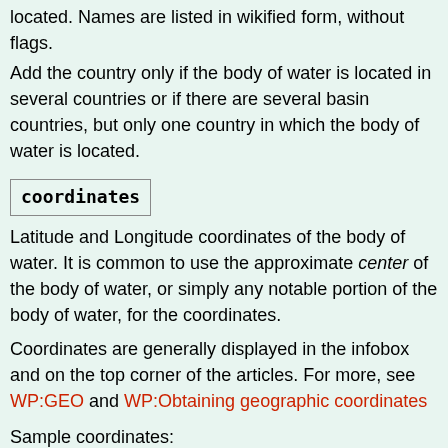located. Names are listed in wikified form, without flags.
Add the country only if the body of water is located in several countries or if there are several basin countries, but only one country in which the body of water is located.
coordinates
Latitude and Longitude coordinates of the body of water. It is common to use the approximate center of the body of water, or simply any notable portion of the body of water, for the coordinates.
Coordinates are generally displayed in the infobox and on the top corner of the articles. For more, see WP:GEO and WP:Obtaining geographic coordinates
Sample coordinates:
{{coord|47|01|10|N|8|24|04|E|type:wat